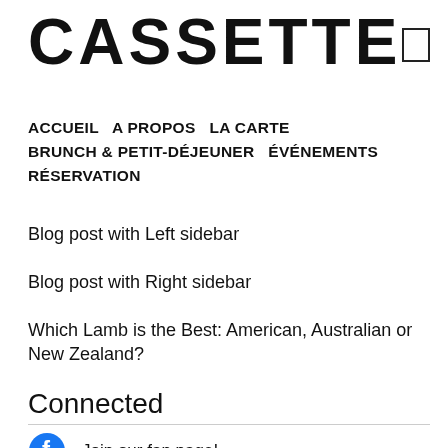CASSETTE
ACCUEIL  A PROPOS  LA CARTE  BRUNCH & PETIT-DÉJEUNER  ÉVÉNEMENTS  RÉSERVATION
Blog post with Left sidebar
Blog post with Right sidebar
Which Lamb is the Best: American, Australian or New Zealand?
Connected
Join our fan page!
Follow us on Twitter!